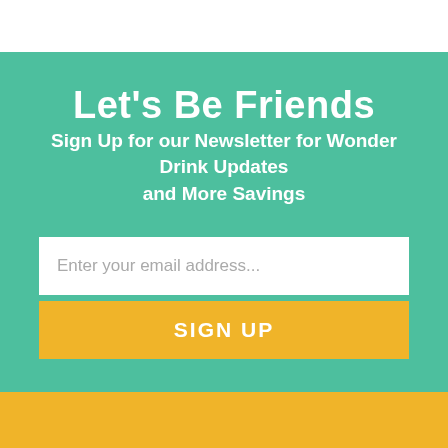Let's Be Friends
Sign Up for our Newsletter for Wonder Drink Updates and More Savings
Enter your email address...
SIGN UP